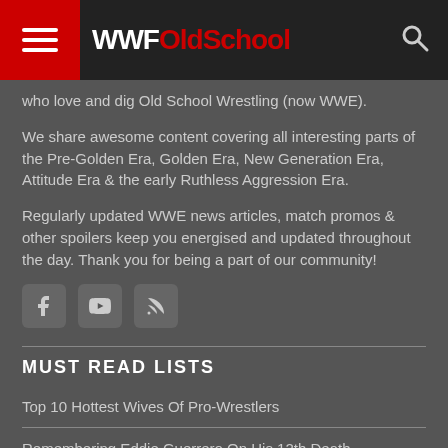WWFOldSchool
who love and dig Old School Wrestling (now WWE).
We share awesome content covering all interesting parts of the Pre-Golden Era, Golden Era, New Generation Era, Attitude Era & the early Ruthless Aggression Era.
Regularly updated WWE news articles, match promos & other spoilers keep you energised and updated throughout the day. Thank you for being a part of our community!
[Figure (other): Social media icons: Facebook, YouTube, RSS feed]
MUST READ LISTS
Top 10 Hottest Wives Of Pro-Wrestlers
Remembering Eddie Guerrero On His 12th Death Anniversary – 6 Things You Should Know About "Latino Heat"
The 25 Worst Gimmicks In Wrestling History